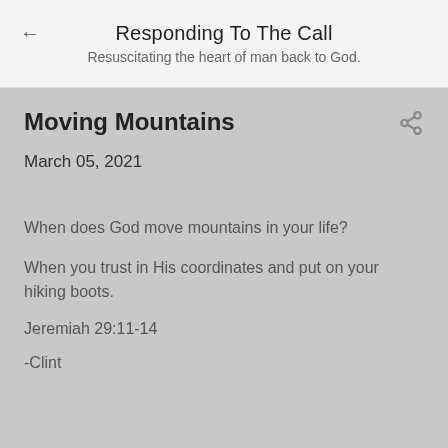Responding To The Call
Resuscitating the heart of man back to God.
Moving Mountains
March 05, 2021
When does God move mountains in your life?
When you trust in His coordinates and put on your hiking boots.
Jeremiah 29:11-14
-Clint